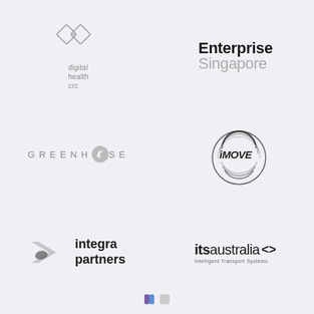[Figure (logo): Digital Health CRC logo with diamond shapes and text 'digital health crc']
[Figure (logo): Enterprise Singapore logo with bold 'Enterprise' in black and 'Singapore' in gray]
[Figure (logo): Greenhouse logo with spaced uppercase letters and a circular leaf icon replacing the 'O']
[Figure (logo): iMOVE logo with circular arc lines and bold italic text 'iMOVE']
[Figure (logo): Integra Partners logo with arrow/chevron graphic and bold text 'integra partners']
[Figure (logo): ITS Australia - Intelligent Transport Systems logo with bold 'its' and angle bracket symbol]